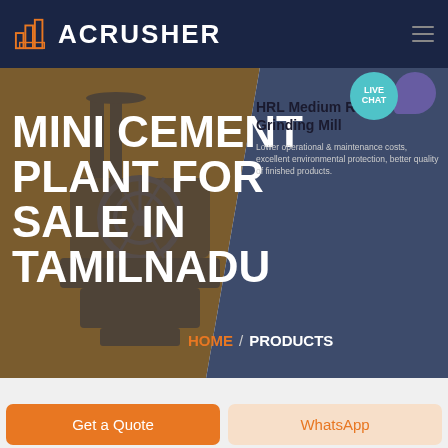ACRUSHER
MINI CEMENT PLANT FOR SALE IN TAMILNADU
HRL Medium Roller Grinding Mill
Lower operational & maintenance costs, excellent environmental protection, better quality of finished products.
HOME / PRODUCTS
[Figure (screenshot): ACRUSHER website screenshot showing Mini Cement Plant For Sale In Tamilnadu page with navigation header, hero section with machinery image, product info panel, breadcrumb, and action buttons.]
Get a Quote
WhatsApp